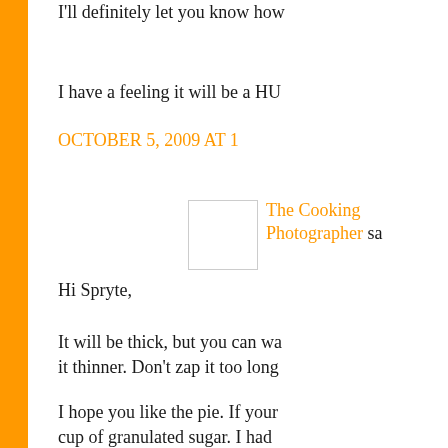I'll definitely let you know how
I have a feeling it will be a HU
OCTOBER 5, 2009 AT 1
The Cooking Photographer sa
Hi Spryte,
It will be thick, but you can wa it thinner. Don't zap it too long
I hope you like the pie. If your cup of granulated sugar. I had when I made that one.
Let me know how it goes plea
Laura
OCTOBER 5, 2009 AT 1